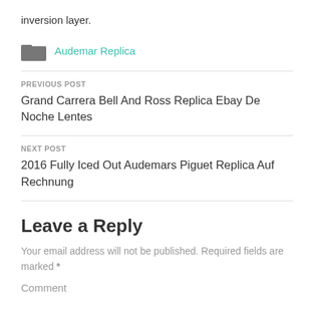inversion layer.
Audemar Replica
PREVIOUS POST
Grand Carrera Bell And Ross Replica Ebay De Noche Lentes
NEXT POST
2016 Fully Iced Out Audemars Piguet Replica Auf Rechnung
Leave a Reply
Your email address will not be published. Required fields are marked *
Comment